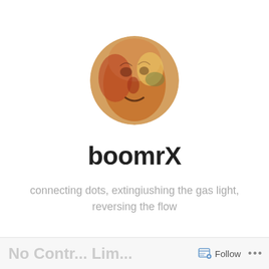[Figure (photo): Circular profile avatar showing a colorful illustrated face with orange, red, and gold tones]
boomrX
connecting dots, extingiushing the gas light, reversing the flow
[Figure (other): Menu button with hamburger icon (≡) and text 'Menu', rectangular border]
No Contr... Lim... ☰ Follow ...